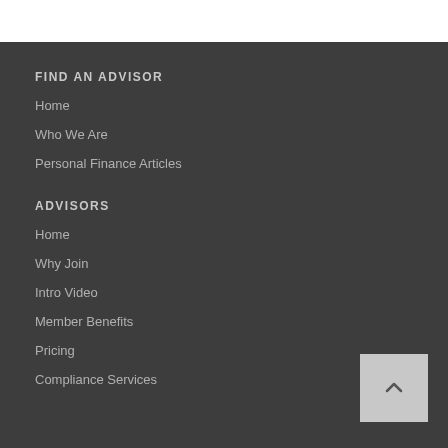FIND AN ADVISOR
Home
Who We Are
Personal Finance Articles
ADVISORS
Home
Why Join
Intro Video
Member Benefits
Pricing
Compliance Services